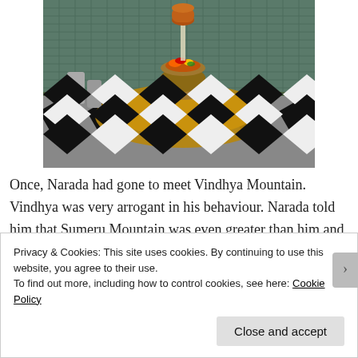[Figure (photo): A Hindu temple shivalinga with offerings, flowers, and a brass dhara (continuous water/milk drip vessel) above it, set on a checkered black and white tiled floor with a decorative brass base. Background shows tiled walls.]
Once, Narada had gone to meet Vindhya Mountain. Vindhya was very arrogant in his behaviour. Narada told him that Sumeru Mountain was even greater than him and so
Privacy & Cookies: This site uses cookies. By continuing to use this website, you agree to their use.
To find out more, including how to control cookies, see here: Cookie Policy